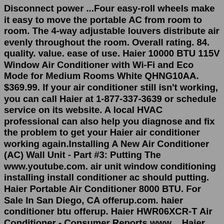Disconnect power ...Four easy-roll wheels make it easy to move the portable AC from room to room. The 4-way adjustable louvers distribute air evenly throughout the room. Overall rating. 84. quality. value. ease of use. Haier 10000 BTU 115V Window Air Conditioner with Wi-Fi and Eco Mode for Medium Rooms White QHNG10AA. $369.99. If your air conditioner still isn't working, you can call Haier at 1-877-337-3639 or schedule service on its website. A local HVAC professional can also help you diagnose and fix the problem to get your Haier air conditioner working again.Installing A New Air Conditioner (AC) Wall Unit - Part #3: Putting The www.youtube.com. air unit window conditioning installing install conditioner ac should putting. Haier Portable Air Conditioner 8000 BTU. For Sale In San Diego, CA offerup.com. haier conditioner btu offerup. Haier HWR06XCR-T Air Conditioner - Consumer Reports www ...Haier Portable Air Conditioner (Refurbished) Time to fill this bad boy with great products like products by in the room room gifts and the ...